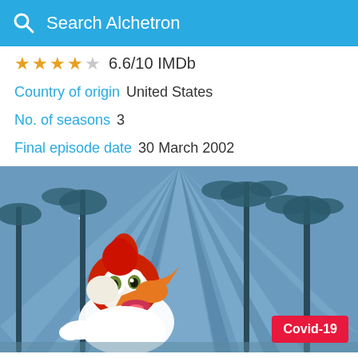Search Alchetron
★★★★☆ 6.6/10 IMDb
Country of origin  United States
No. of seasons  3
Final episode date  30 March 2002
[Figure (illustration): Cartoon character Woody Woodpecker in front of palm trees and a blue sky with light rays. Covid-19 badge in bottom right corner.]